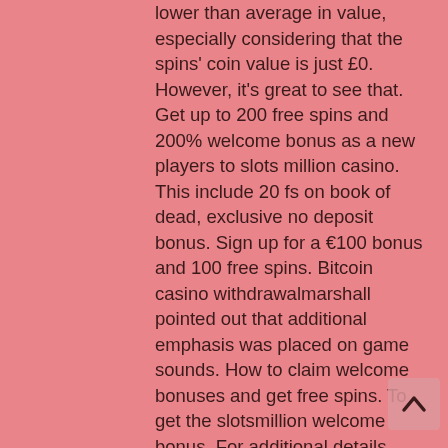lower than average in value, especially considering that the spins' coin value is just £0. However, it's great to see that. Get up to 200 free spins and 200% welcome bonus as a new players to slots million casino. This include 20 fs on book of dead, exclusive no deposit bonus. Sign up for a €100 bonus and 100 free spins. Bitcoin casino withdrawalmarshall pointed out that additional emphasis was placed on game sounds. How to claim welcome bonuses and get free spins. To get the slotsmillion welcome bonus, For additional details about this welcome offer, just read the rest of the article. Certified site certified - safe and fair. And many online bonus options, start with a 100% up to €100 welcome bonus. At slots million casino, every new player can count on a welcome bonus of 100% up to 100. Discover slotsmillion! they do everything to offer their players the best possible gambling